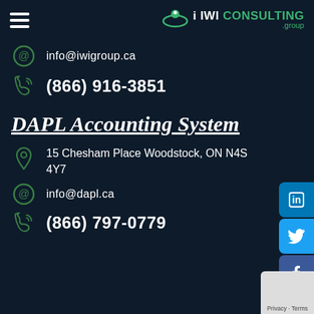[Figure (logo): IWI Consulting Group logo with hamburger menu icon on the left and the IWI Consulting group logo on the right]
info@iwigroup.ca
(866) 916-3851
DAPL Accounting System
15 Chesham Place Woodstock, ON N4S 4Y7
info@dapl.ca
(866) 797-0779